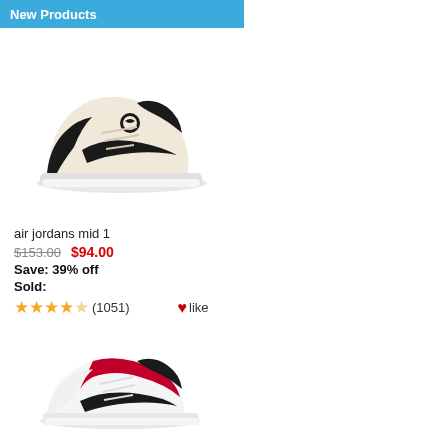New Products
[Figure (photo): Air Jordan 1 Mid sneaker in cream/black colorway, side profile view]
air jordans mid 1
$153.00  $94.00
Save: 39% off
Sold:
★★★★½ (1051)  ♥like
[Figure (photo): Air Jordan 1 Mid sneaker in red/black/white colorway, side profile view]